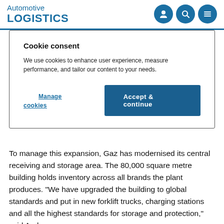Automotive LOGISTICS
Cookie consent
We use cookies to enhance user experience, measure performance, and tailor our content to your needs.
Manage cookies  Accept & continue
To manage this expansion, Gaz has modernised its central receiving and storage area. The 80,000 square metre building holds inventory across all brands the plant produces. “We have upgraded the building to global standards and put in new forklift trucks, charging stations and all the highest standards for storage and protection,” said Andersson.